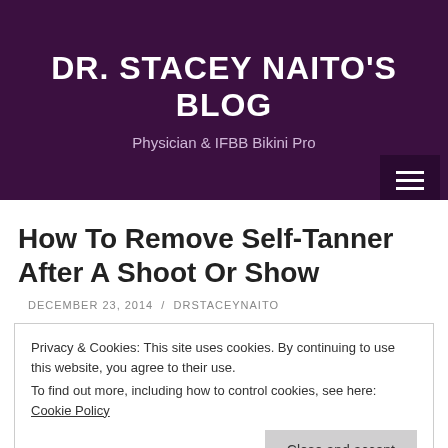DR. STACEY NAITO'S BLOG
Physician & IFBB Bikini Pro
How To Remove Self-Tanner After A Shoot Or Show
DECEMBER 23, 2014 / DRSTACEYNAITO
Privacy & Cookies: This site uses cookies. By continuing to use this website, you agree to their use.
To find out more, including how to control cookies, see here: Cookie Policy
Close and accept
Originally published on mensphysique.com on